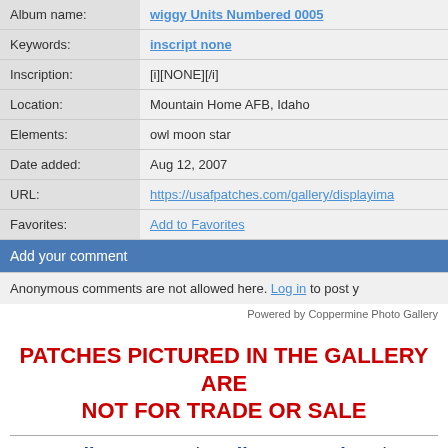| Album name: | wiggy Units Numbered 0005 |
| Keywords: | inscript none |
| Inscription: | [i][NONE][/i] |
| Location: | Mountain Home AFB, Idaho |
| Elements: | owl moon star |
| Date added: | Aug 12, 2007 |
| URL: | https://usafpatches.com/gallery/displayima… |
| Favorites: | Add to Favorites |
Add your comment
Anonymous comments are not allowed here. Log in to post y…
Powered by Coppermine Photo Gallery
PATCHES PICTURED IN THE GALLERY ARE NOT FOR TRADE OR SALE
Gallery Home | Gallery Overview |